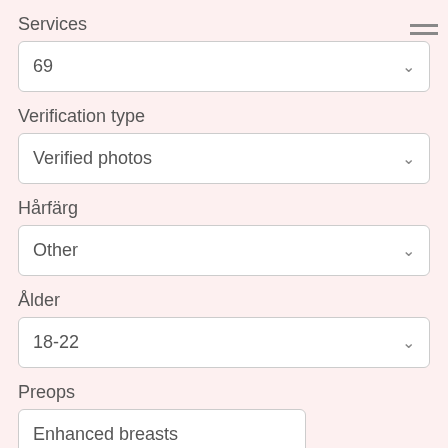Services
69
Verification type
Verified photos
Hårfärg
Other
Ålder
18-22
Preops
Enhanced breasts
Bröst
[Figure (photo): Circular profile photo showing a woman's torso]